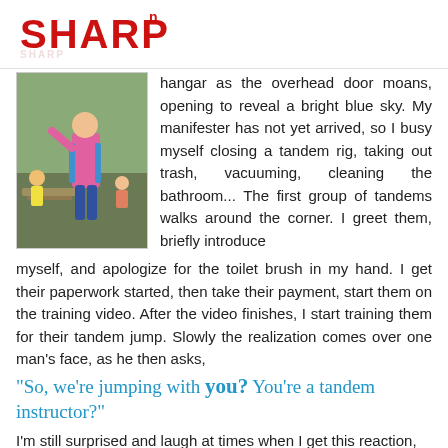[Figure (logo): SHARP logo in red bold uppercase letters with superscript 'n']
[Figure (photo): Person wearing a pink backpack parachute rig standing outdoors near picnic tables, viewed from behind/side]
hangar as the overhead door moans, opening to reveal a bright blue sky. My manifester has not yet arrived, so I busy myself closing a tandem rig, taking out trash, vacuuming, cleaning the bathroom... The first group of tandems walks around the corner. I greet them, briefly introduce myself, and apologize for the toilet brush in my hand. I get their paperwork started, then take their payment, start them on the training video. After the video finishes, I start training them for their tandem jump. Slowly the realization comes over one man's face, as he then asks,
"So, we're jumping with you? You're a tandem instructor?"
I'm still surprised and laugh at times when I get this reaction,